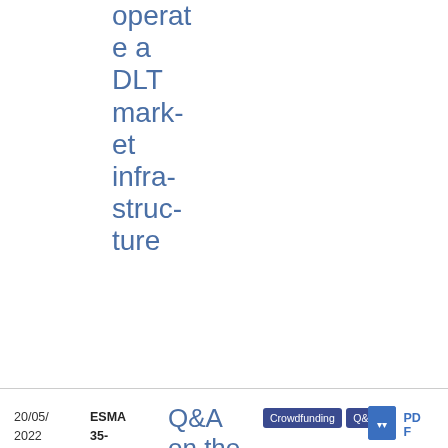operate a DLT market infrastructure
| Date | Reference | Title | Topic | Type | File |
| --- | --- | --- | --- | --- | --- |
| 20/05/2022 | ESMA 35-42-1088 | Q&A on the European crowdfunding service providers for... | Crowdfunding Q&A | PDF | 279.38 KB |